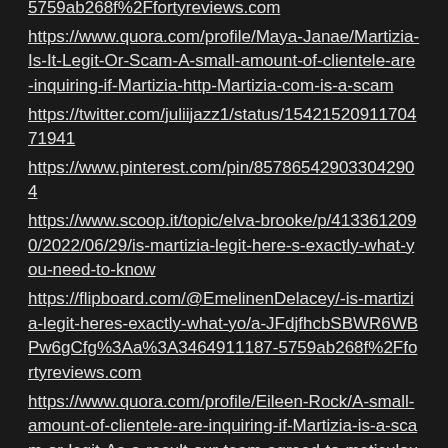5759ab268f%2Ffortyreviews.com
https://www.quora.com/profile/Maya-Janae/Martizia-Is-It-Legit-Or-Scam-A-small-amount-of-clientele-are-inquiring-if-Martizia-http-Martizia-com-is-a-scam
https://twitter.com/juliijazz1/status/1542152091170471941
https://www.pinterest.com/pin/857865429033042904
https://www.scoop.it/topic/elva-brooke/p/4133612090/2022/06/29/is-martizia-legit-here-s-exactly-what-you-need-to-know
https://flipboard.com/@EmelinenDelacey/-is-martizia-legit-heres-exactly-what-yo/a-JFdjfhcbSBWR6WBPw6gCfg%3Aa%3A3464911187-5759ab268f%2Ffortyreviews.com
https://www.quora.com/profile/Eileen-Rock/A-small-amount-of-clientele-are-inquiring-if-Martizia-is-a-scam-or-legit-As-a-result-our-team-agreed-to-meticulously-i
https://twitter.com/WarnerLucey/status/1542153613249859584
https://www.pinterest.com/pin/639581584595372872
https://www.scoop.it/topic/colin-rush/p/4133611213/2022/06/29/is-martizia-legit-here-s-exactly-what-you-need-to-